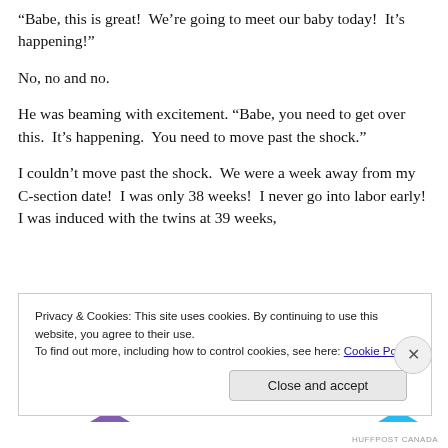“Babe, this is great!  We’re going to meet our baby today!  It’s happening!”
No, no and no.
He was beaming with excitement. “Babe, you need to get over this.  It’s happening.  You need to move past the shock.”
I couldn’t move past the shock.  We were a week away from my C-section date!  I was only 38 weeks!  I never go into labor early!  I was induced with the twins at 39 weeks,
Privacy & Cookies: This site uses cookies. By continuing to use this website, you agree to their use.
To find out more, including how to control cookies, see here: Cookie Policy
Close and accept